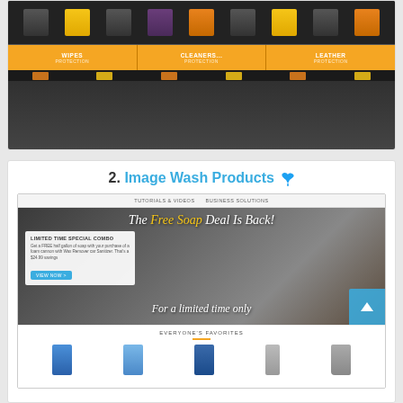[Figure (screenshot): Screenshot of ArmorAll website showing product categories: Wipes, Cleaners, Leather with orange buttons and product images]
ArmorAll has been making car wash products since 1982. Well known and trusted. Great products for the weekend warrior.
2. Image Wash Products
[Figure (screenshot): Screenshot of Image Wash Products website showing hero banner 'The Free Soap Deal Is Back!' with 'For a limited time only' subtitle, a limited time special combo offer box, and Everyone's Favorites product section at bottom]